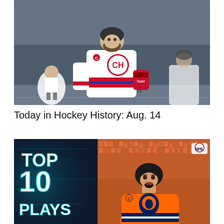[Figure (photo): Montreal Canadiens hockey player wearing white jersey with CH logo and captain C patch, skating on ice during a game, with other players in background]
Today in Hockey History: Aug. 14
[Figure (photo): NHL Top 10 Plays graphic with Edmonton Oilers player wearing orange jersey with captain C patch, celebrating with mouth open, crowd in background, NHL logo in top right corner, 'TOP 10 PLAYS' text overlay on left side with teal/blue glowing effect]